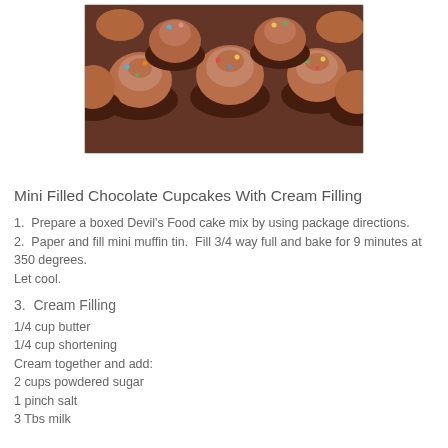[Figure (photo): Photo of mini chocolate cupcakes with chocolate frosting swirls and colorful sprinkles on top, viewed from above/slightly above angle]
Mini Filled Chocolate Cupcakes With Cream Filling
1.  Prepare a boxed Devil's Food cake mix by using package directions.
2.  Paper and fill mini muffin tin.  Fill 3/4 way full and bake for 9 minutes at 350 degrees.
Let cool.
3.  Cream Filling
1/4 cup butter
1/4 cup shortening
Cream together and add:
2 cups powdered sugar
1 pinch salt
3 Tbs milk